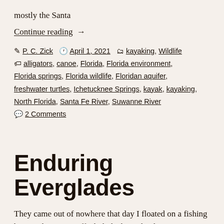mostly the Santa
Continue reading →
P. C. Zick  April 1, 2021  kayaking, Wildlife alligators, canoe, Florida, Florida environment, Florida springs, Florida wildlife, Floridan aquifer, freshwater turtles, Ichetucknee Springs, kayak, kayaking, North Florida, Santa Fe River, Suwanne River 2 Comments
Enduring Everglades
They came out of nowhere that day I floated on a fishing boat in the waters off Chokoloskee Island.